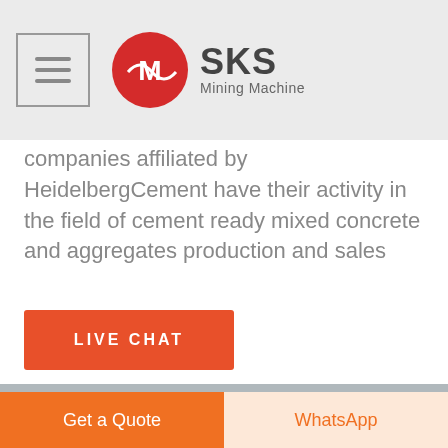SKS Mining Machine
companies affiliated by HeidelbergCement have their activity in the field of cement ready mixed concrete and aggregates production and sales
LIVE CHAT
[Figure (photo): Close-up industrial photo of metal conveyor belt machinery parts]
Get a Quote
WhatsApp